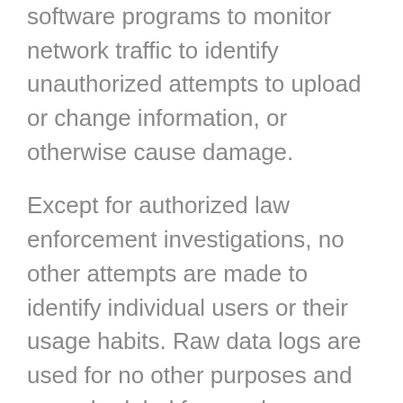software programs to monitor network traffic to identify unauthorized attempts to upload or change information, or otherwise cause damage.
Except for authorized law enforcement investigations, no other attempts are made to identify individual users or their usage habits. Raw data logs are used for no other purposes and are scheduled for regular destruction in accordance with National Archives and Records Administration guidelines.
Unauthorized attempts to upload information or change information on this service are